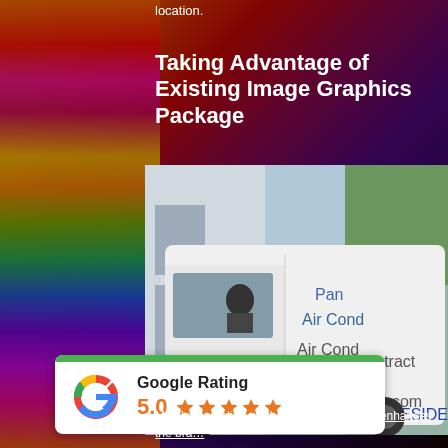location.
Taking Advantage of Existing Image Graphics Package
[Figure (photo): A white service van for Pan Air Conditioning company parked in front of a building. The van shows text including 'Air Cond', 'Service Contract', '767-79', 'panzerincorp.com', 'MMERCIAL & RESIDEN', '110', 'CAC1813828', 'Licensed & Insured'. Colorful abstract background visible behind the van.]
[Figure (infographic): Google Rating card showing 5.0 rating with 5 orange stars, green bar at top, Google G logo in multi-color.]
Mobile marketing on the fleet level greatly enhances the bra…